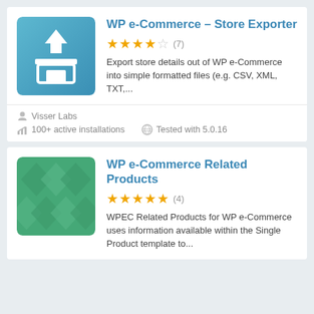WP e-Commerce – Store Exporter
Export store details out of WP e-Commerce into simple formatted files (e.g. CSV, XML, TXT,...
Visser Labs
100+ active installations
Tested with 5.0.16
WP e-Commerce Related Products
WPEC Related Products for WP e-Commerce uses information available within the Single Product template to...